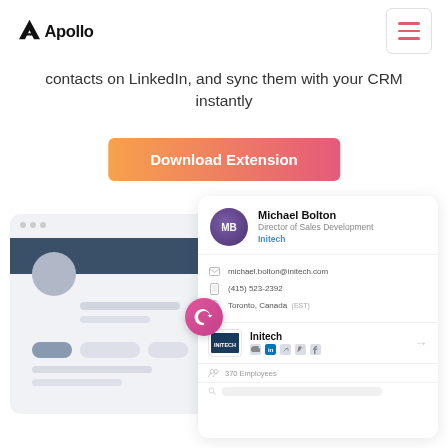[Figure (logo): Apollo logo — black triangle/chevron 'A' with 'Apollo' wordmark in black]
contacts on LinkedIn, and sync them with your CRM instantly
Download Extension
[Figure (screenshot): Apollo Chrome extension screenshot showing a LinkedIn profile page on the left and the Apollo contact card panel on the right, with contact Michael Bolton, Director of Sales Development at Initech, email michael.bolton@initech.com, phone (415) 523-2392, location Toronto, Canada (EST), and Initech company info with 370 employees]